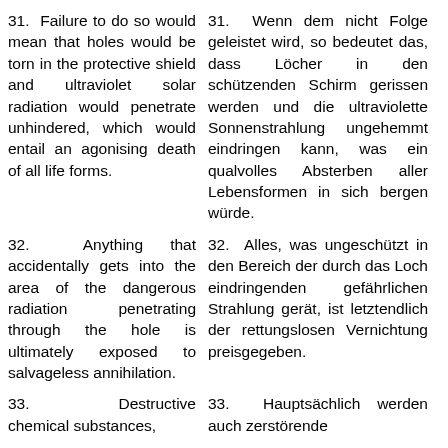31. Failure to do so would mean that holes would be torn in the protective shield and ultraviolet solar radiation would penetrate unhindered, which would entail an agonising death of all life forms.
31. Wenn dem nicht Folge geleistet wird, so bedeutet das, dass Löcher in den schützenden Schirm gerissen werden und die ultraviolette Sonnenstrahlung ungehemmt eindringen kann, was ein qualvolles Absterben aller Lebensformen in sich bergen würde.
32. Anything that accidentally gets into the area of the dangerous radiation penetrating through the hole is ultimately exposed to salvageless annihilation.
32. Alles, was ungeschützt in den Bereich der durch das Loch eindringenden gefährlichen Strahlung gerät, ist letztendlich der rettungslosen Vernichtung preisgegeben.
33. Destructive chemical substances,
33. Hauptsächlich werden auch zerstörende